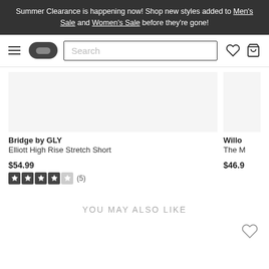Summer Clearance is happening now! Shop new styles added to Men's Sale and Women's Sale before they're gone!
[Figure (screenshot): Navigation bar with hamburger menu, logo pill, search box, heart icon and bag icon]
Bridge by GLY
Elliott High Rise Stretch Short
$54.99
[Figure (other): 4 out of 5 stars rating with (5) reviews]
Willo
The M
$46.9
YOU MAY ALSO LIKE
[Figure (other): Heart/wishlist icon in bottom section]